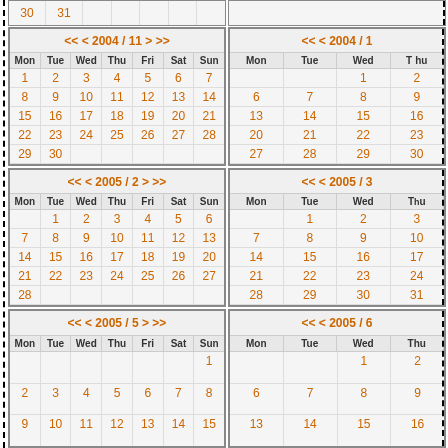[Figure (other): Calendar grid showing months 2004/11, 2004/12, 2005/2, 2005/3, 2005/5, 2005/6 with day numbers in orange]
[Figure (other): Dashed vertical line separator on left side of page]